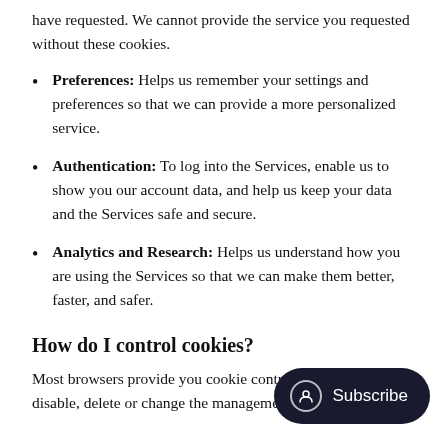have requested. We cannot provide the service you requested without these cookies.
Preferences: Helps us remember your settings and preferences so that we can provide a more personalized service.
Authentication: To log into the Services, enable us to show you our account data, and help us keep your data and the Services safe and secure.
Analytics and Research: Helps us understand how you are using the Services so that we can make them better, faster, and safer.
How do I control cookies?
Most browsers provide you cookie controls to block, reject, disable, delete or change the management